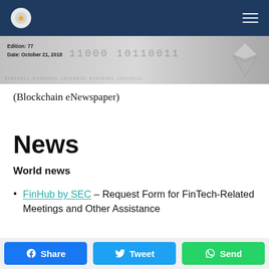Navigation bar with logo and menu
[Figure (other): Banner with binary code pattern, Edition: 77, Date: October 21, 2018, and Ethereum-style logo on right]
(Blockchain eNewspaper)
News
World news
FinHub by SEC – Request Form for FinTech-Related Meetings and Other Assistance
Fidelity [partial, cut off]
Share  Tweet  Send